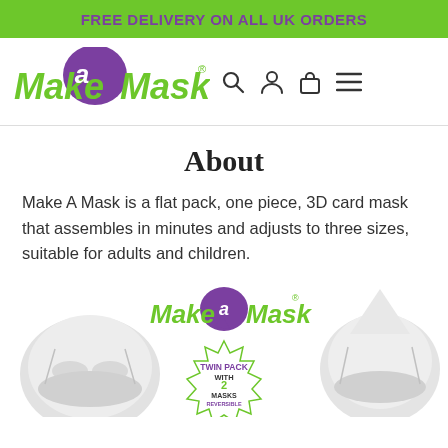FREE DELIVERY ON ALL UK ORDERS
[Figure (logo): Make A Mask logo with purple speech bubble and green text, plus search, account, cart, and menu icons]
About
Make A Mask is a flat pack, one piece, 3D card mask that assembles in minutes and adjusts to three sizes, suitable for adults and children.
[Figure (photo): Product photo showing two white 3D card face masks on left and right, with Make A Mask logo and Twin Pack with 2 Masks Reversible badge in the center]